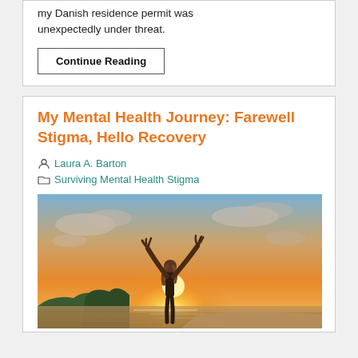my Danish residence permit was unexpectedly under threat.
Continue Reading
My Mental Health Journey: Farewell Stigma, Hello Recovery
Laura A. Barton
Surviving Mental Health Stigma
[Figure (photo): Woman standing outdoors with arms raised toward sky at sunset, silhouetted against a bright orange and golden sky with ocean and rocky coast in background.]